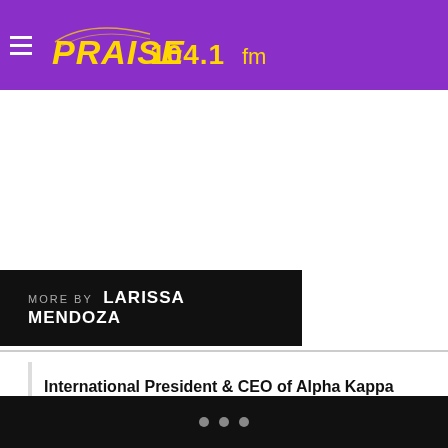PRAISE 104.1 fm
MORE BY LARISSA MENDOZA
International President & CEO of Alpha Kappa Alpha Sorority, Incorporated Danette Anthony Reed Talks AKA Future, Divine 9 Impact & More
Courtney Franklin ‘Send Us Peace Is My Prayer To God For The World’ [Listen]
...